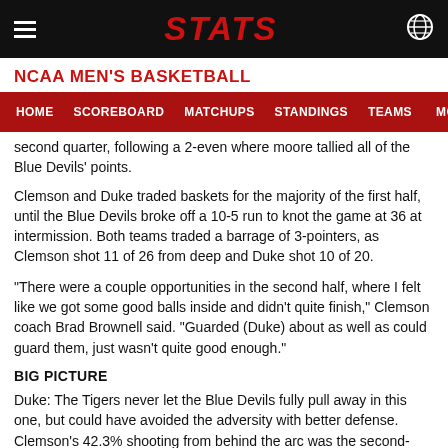STATS
NCAA MEN'S BASKETBALL
HOME  SCOREBOARD  MATCHUPS  STANDINGS  TEAMS  MORE...
second quarter, following a 2-even where moore tallied all of the Blue Devils' points.
Clemson and Duke traded baskets for the majority of the first half, until the Blue Devils broke off a 10-5 run to knot the game at 36 at intermission. Both teams traded a barrage of 3-pointers, as Clemson shot 11 of 26 from deep and Duke shot 10 of 20.
"There were a couple opportunities in the second half, where I felt like we got some good balls inside and didn't quite finish," Clemson coach Brad Brownell said. "Guarded (Duke) about as well as could guard them, just wasn't quite good enough."
BIG PICTURE
Duke: The Tigers never let the Blue Devils fully pull away in this one, but could have avoided the adversity with better defense. Clemson's 42.3% shooting from behind the arc was the second-worst mark the Blue Devils have allowed this season.